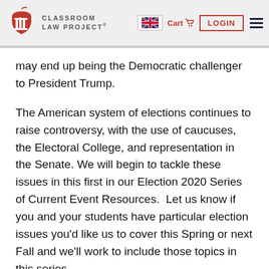Classroom Law Project — Navigation bar with logo, flag, Cart, LOGIN, menu
may end up being the Democratic challenger to President Trump.
The American system of elections continues to raise controversy, with the use of caucuses, the Electoral College, and representation in the Senate. We will begin to tackle these issues in this first in our Election 2020 Series of Current Event Resources.  Let us know if you and your students have particular election issues you'd like us to cover this Spring or next Fall and we'll work to include those topics in this series.